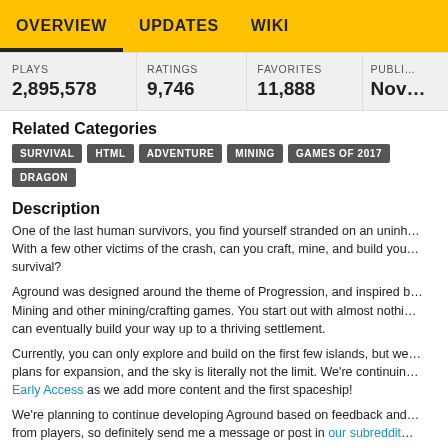OVERVIEW  UPDATES  WIKI
| PLAYS | RATINGS | FAVORITES | PUBLI… |
| --- | --- | --- | --- |
| 2,895,578 | 9,746 | 11,888 | Nov… |
Related Categories
SURVIVAL
HTML
ADVENTURE
MINING
GAMES OF 2017
DRAGON
Description
One of the last human survivors, you find yourself stranded on an uninh… With a few other victims of the crash, can you craft, mine, and build you… survival?
Aground was designed around the theme of Progression, and inspired b… Mining and other mining/crafting games. You start out with almost nothi… can eventually build your way up to a thriving settlement.
Currently, you can only explore and build on the first few islands, but we… plans for expansion, and the sky is literally not the limit. We're continuin… Early Access as we add more content and the first spaceship!
We're planning to continue developing Aground based on feedback and… from players, so definitely send me a message or post in our subreddit